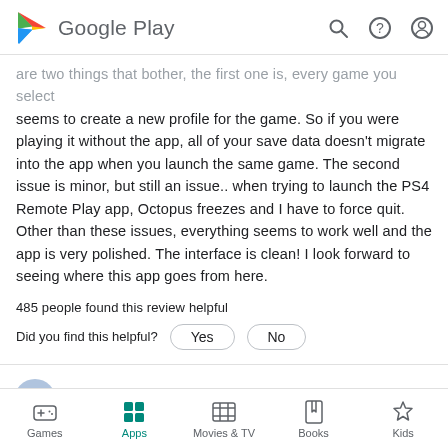Google Play
are two things that bother, the first one is, every game you select seems to create a new profile for the game. So if you were playing it without the app, all of your save data doesn't migrate into the app when you launch the same game. The second issue is minor, but still an issue.. when trying to launch the PS4 Remote Play app, Octopus freezes and I have to force quit. Other than these issues, everything seems to work well and the app is very polished. The interface is clean! I look forward to seeing where this app goes from here.
485 people found this review helpful
Did you find this helpful?
A Google user